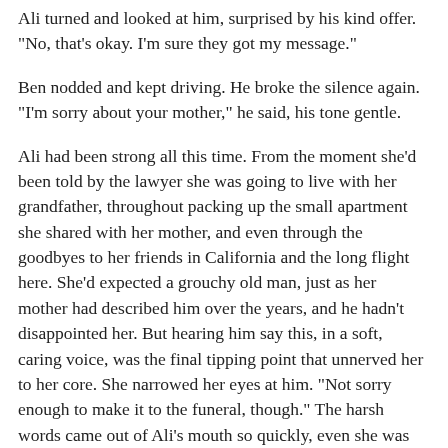Ali turned and looked at him, surprised by his kind offer. "No, that's okay. I'm sure they got my message."
Ben nodded and kept driving. He broke the silence again. "I'm sorry about your mother," he said, his tone gentle.
Ali had been strong all this time. From the moment she'd been told by the lawyer she was going to live with her grandfather, throughout packing up the small apartment she shared with her mother, and even through the goodbyes to her friends in California and the long flight here. She'd expected a grouchy old man, just as her mother had described him over the years, and he hadn't disappointed her. But hearing him say this, in a soft, caring voice, was the final tipping point that unnerved her to her core. She narrowed her eyes at him. "Not sorry enough to make it to the funeral, though." The harsh words came out of Ali's mouth so quickly, even she was stunned by them.
Ben sat quiet a moment, definitely not the reaction Ali expected. Finally, he said, "I didn't really think I'd be welcome there. Figured it was best to stay away."